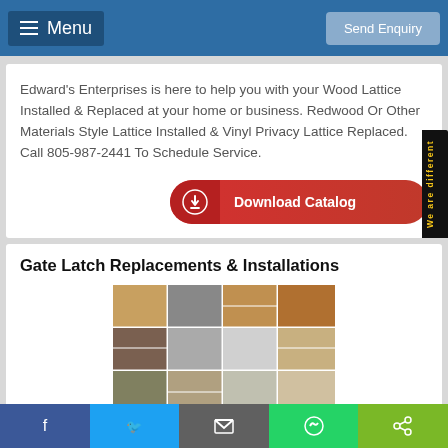Menu | Send Enquiry
Edward's Enterprises is here to help you with your Wood Lattice Installed & Replaced at your home or business. Redwood Or Other Materials Style Lattice Installed & Vinyl Privacy Lattice Replaced. Call 805-987-2441 To Schedule Service.
Gate Latch Replacements & Installations
[Figure (photo): Collage of gate latch replacement and installation photos showing various gate hardware, latches, doors, and outdoor structures]
Facebook | Twitter | Email | WhatsApp | Share